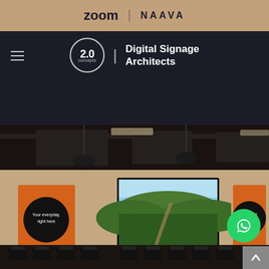[Figure (logo): Top tan/beige banner with Zoom and NAAVA logos]
2.0 concepts | Digital Signage Architects
[Figure (photo): Interior conference/training room with large LED display screen showing forest landscape, orange accent panels with circular black signs, rows of chairs, pendant lights from ceiling]